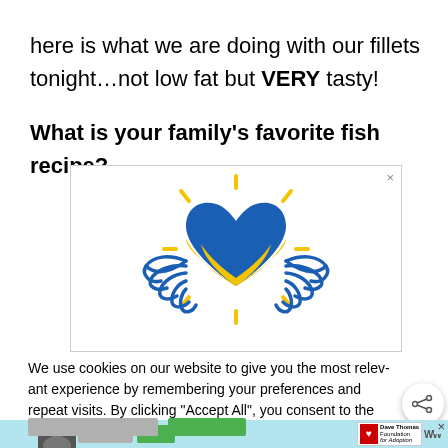here is what we are doing with our fillets tonight…not low fat but VERY tasty! What is your family's favorite fish recipe?
[Figure (illustration): Advertisement banner showing a blue and yellow heart with wing-like hands and sun rays, Ukrainian flag colors, with a close (×) button in the top right corner]
We use cookies on our website to give you the most relevant experience by remembering your preferences and repeat visits. By clicking "Accept All", you consent to the use of ALL the cookies. However, you may visit "Cookie Settings" to provide a controlled consent.
[Figure (screenshot): Bottom advertisement strip with photo of person, Dave Thomas Foundation for Adoption logo, and share button overlay]